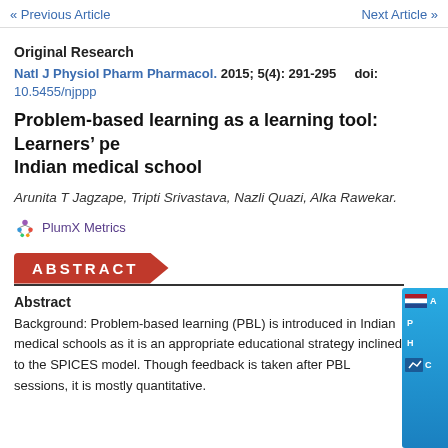« Previous Article    Next Article »
Original Research
Natl J Physiol Pharm Pharmacol. 2015; 5(4): 291-295    doi: 10.5455/njppp
Problem-based learning as a learning tool: Learners' pe... Indian medical school
Arunita T Jagzape, Tripti Srivastava, Nazli Quazi, Alka Rawekar.
PlumX Metrics
ABSTRACT
Abstract
Background: Problem-based learning (PBL) is introduced in Indian medical schools as it is an appropriate educational strategy inclined to the SPICES model. Though feedback is taken after PBL sessions, it is mostly quantitative.